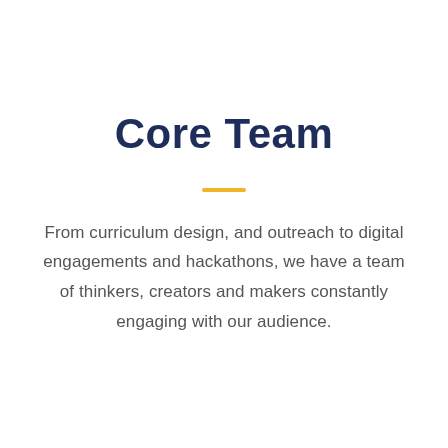Core Team
From curriculum design, and outreach to digital engagements and hackathons, we have a team of thinkers, creators and makers constantly engaging with our audience.